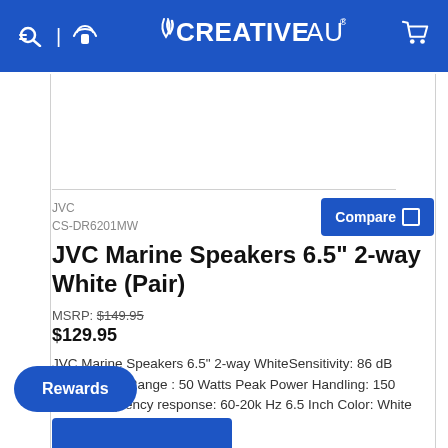CREATIVE AUDIO
JVC
CS-DR6201MW
JVC Marine Speakers 6.5" 2-way White (Pair)
MSRP: $149.95
$129.95
JVC Marine Speakers 6.5" 2-way WhiteSensitivity: 86 dB RMS Power Range : 50 Watts Peak Power Handling: 150 Watts Frequency response: 60-20k Hz 6.5 Inch Color: White